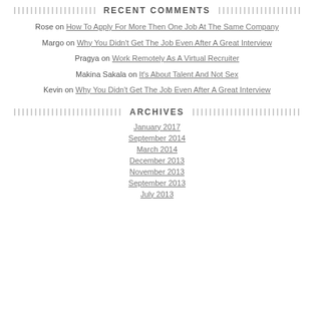RECENT COMMENTS
Rose on How To Apply For More Then One Job At The Same Company
Margo on Why You Didn't Get The Job Even After A Great Interview
Pragya on Work Remotely As A Virtual Recruiter
Makina Sakala on It's About Talent And Not Sex
Kevin on Why You Didn't Get The Job Even After A Great Interview
ARCHIVES
January 2017
September 2014
March 2014
December 2013
November 2013
September 2013
July 2013